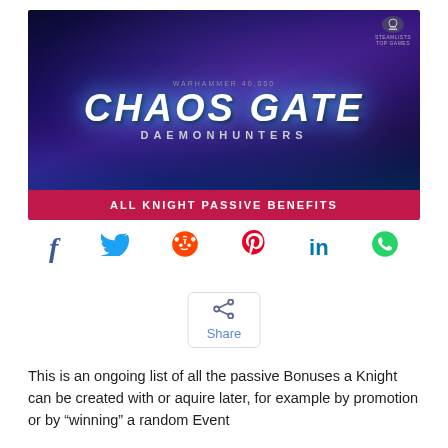[Figure (illustration): Warhammer 40000 Chaos Gate Daemonhunters game banner with dark blue/purple fantasy art showing armored space marines, with a crimson bar at the bottom reading 'ALL KNIGHT PASSIVE BENEFITS'. A Steamlists logo appears in the top right corner.]
[Figure (infographic): Social sharing icons row: Facebook (f), Twitter (bird), Reddit (alien), Pinterest (P), LinkedIn (in), WhatsApp (phone)]
[Figure (infographic): Share button with share icon and label 'Share']
This is an ongoing list of all the passive Bonuses a Knight can be created with or aquire later, for example by promotion or by “winning” a random Event